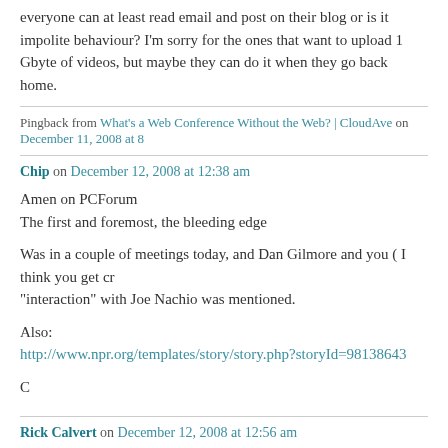everyone can at least read email and post on their blog or is it impolite behaviour? I'm sorry for the ones that want to upload 1 Gbyte of videos, but maybe they can do it when they go back home.
Pingback from What's a Web Conference Without the Web? | CloudAve on December 11, 2008 at 8...
Chip on December 12, 2008 at 12:38 am
Amen on PCForum
The first and foremost, the bleeding edge

Was in a couple of meetings today, and Dan Gilmore and you ( I think you get cr... "interaction" with Joe Nachio was mentioned.

Also:
http://www.npr.org/templates/story/story.php?storyId=98138643

C
Rick Calvert on December 12, 2008 at 12:56 am
If convention internet service providers in France are anything like the ones here in the states Doc, Loic will be very lucky to get 10% of his money back.

There is no such gaurantee that any vendor would give. They don't have to whe... the exclusive provider. It is one of the things I constantly fight against in the ever...